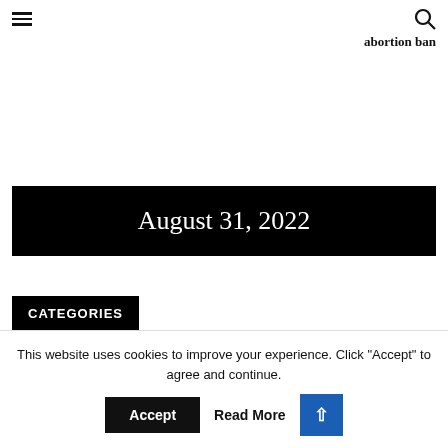≡ [hamburger menu] [search icon]
abortion ban
August 31, 2022
CATEGORIES
This website uses cookies to improve your experience. Click "Accept" to agree and continue.